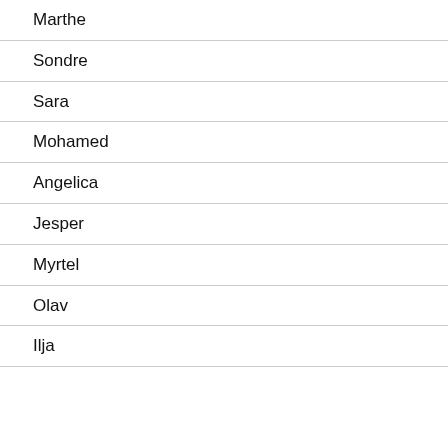Marthe
Sondre
Sara
Mohamed
Angelica
Jesper
Myrtel
Olav
Ilja